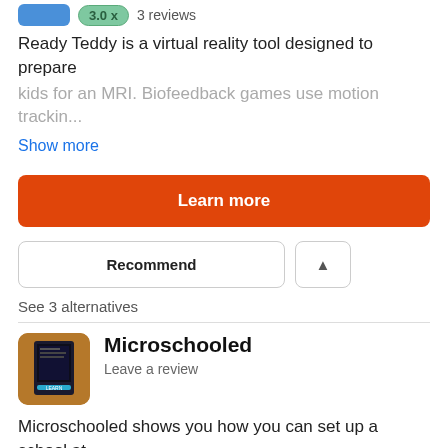3.0x  3 reviews
Ready Teddy is a virtual reality tool designed to prepare kids for an MRI. Biofeedback games use motion trackin...
Show more
Learn more
Recommend
See 3 alternatives
Microschooled
Leave a review
Microschooled shows you how you can set up a school at home to keep your kids' learning, no matter what happe...
Show more